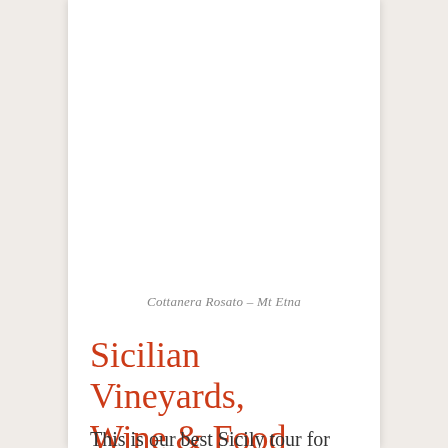Cottanera Rosato – Mt Etna
Sicilian Vineyards, Wine & Food Tour
This is our best Sicily tour for the